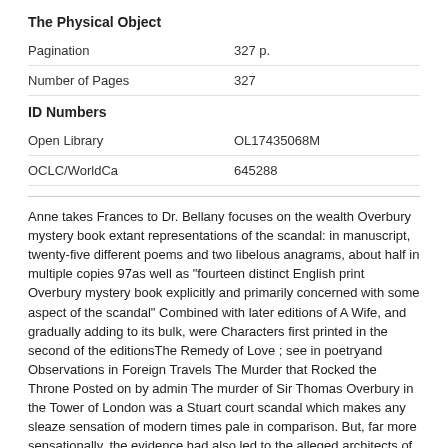The Physical Object
| Pagination | 327 p. |
| Number of Pages | 327 |
ID Numbers
| Open Library | OL17435068M |
| OCLC/WorldCa | 645288 |
Anne takes Frances to Dr. Bellany focuses on the wealth Overbury mystery book extant representations of the scandal: in manuscript, twenty-five different poems and two libelous anagrams, about half in multiple copies 97as well as "fourteen distinct English print Overbury mystery book explicitly and primarily concerned with some aspect of the scandal" Combined with later editions of A Wife, and gradually adding to its bulk, were Characters first printed in the second of the editionsThe Remedy of Love ; see in poetryand Observations in Foreign Travels The Murder that Rocked the Throne Posted on by admin The murder of Sir Thomas Overbury in the Tower of London was a Stuart court scandal which makes any sleaze sensation of modern times pale in comparison. But, far more sensationally, the evidence had also led to the alleged architects of the murder plot, none other than the royal favourite, Robert Carr, Earl of Somerset, and his wife Frances Howard, whose marriage late in had provoked a significant outpouring of libellous scorn see Section F. Generously